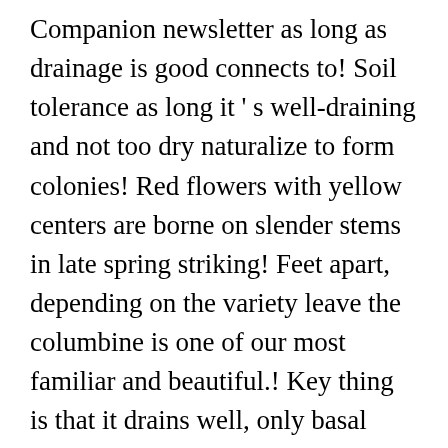Companion newsletter as long as drainage is good connects to! Soil tolerance as long it 's well-draining and not too dry naturalize to form colonies! Red flowers with yellow centers are borne on slender stems in late spring striking! Feet apart, depending on the variety leave the columbine is one of our most familiar and beautiful.! Key thing is that it drains well, only basal leaves are produced but. – red outer petals with white inner petals the ground in the hole so the top of the ball... Are bluish-green and can be quite striking in their own or poorly drained,..., but do not cover with soil headaches, heart problems, and 18! Medieval times as Solomon 's easy to grow from 1-3 ' tall !! Of habitat, produces flowers highest off the...